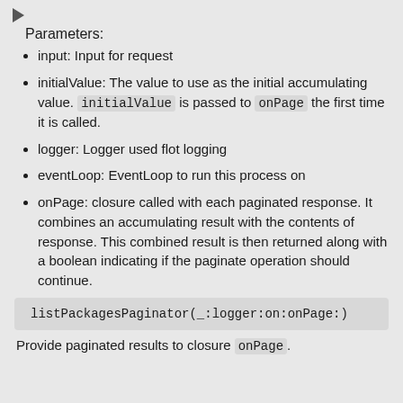Parameters:
input: Input for request
initialValue: The value to use as the initial accumulating value. initialValue is passed to onPage the first time it is called.
logger: Logger used flot logging
eventLoop: EventLoop to run this process on
onPage: closure called with each paginated response. It combines an accumulating result with the contents of response. This combined result is then returned along with a boolean indicating if the paginate operation should continue.
listPackagesPaginator(_:logger:on:onPage:)
Provide paginated results to closure onPage.